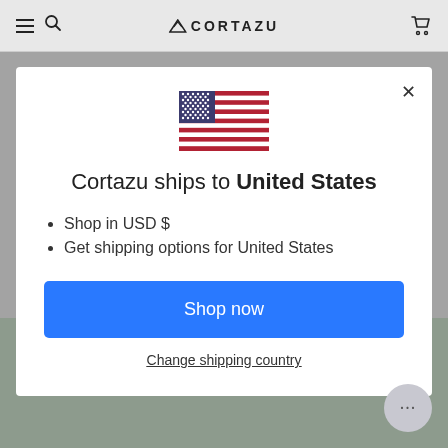CORTAZU
[Figure (screenshot): US flag emoji / illustration centered in modal]
Cortazu ships to United States
Shop in USD $
Get shipping options for United States
Shop now
Change shipping country